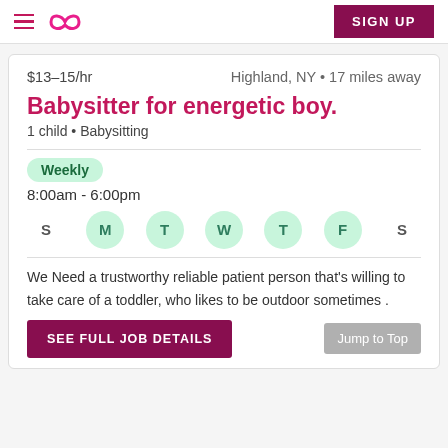☰ ∞ SIGN UP
$13–15/hr   Highland, NY • 17 miles away
Babysitter for energetic boy.
1 child • Babysitting
Weekly
8:00am - 6:00pm
S M T W T F S (days of week, M T W T F active)
We Need a trustworthy reliable patient person that's willing to take care of a toddler, who likes to be outdoor sometimes .
SEE FULL JOB DETAILS
Jump to Top